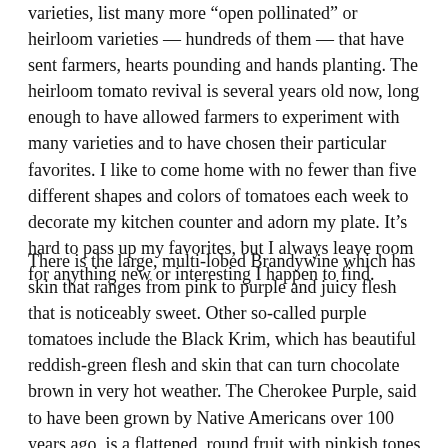varieties, list many more “open pollinated” or heirloom varieties — hundreds of them — that have sent farmers, hearts pounding and hands planting. The heirloom tomato revival is several years old now, long enough to have allowed farmers to experiment with many varieties and to have chosen their particular favorites. I like to come home with no fewer than five different shapes and colors of tomatoes each week to decorate my kitchen counter and adorn my plate. It’s hard to pass up my favorites, but I always leave room for anything new or interesting I happen to find.
There is the large, multi-lobed Brandywine which has skin that ranges from pink to purple and juicy flesh that is noticeably sweet. Other so-called purple tomatoes include the Black Krim, which has beautiful reddish-green flesh and skin that can turn chocolate brown in very hot weather. The Cherokee Purple, said to have been grown by Native Americans over 100 years ago, is a flattened, round fruit with pinkish tones on the skin and flesh.